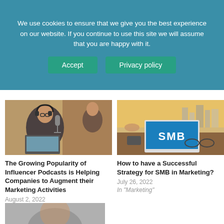We use cookies to ensure that we give you the best experience on our website. If you continue to use this site we will assume that you are happy with it.
Accept | Privacy policy
[Figure (photo): Man with headphones in front of a laptop and microphone, podcast recording setup]
The Growing Popularity of Influencer Podcasts is Helping Companies to Augment their Marketing Activities
August 2, 2022
In "Marketing"
[Figure (photo): Laptop with SMB text on screen, glasses and phone on desk, city skyline in background]
How to have a Successful Strategy for SMB in Marketing?
July 26, 2022
In "Marketing"
[Figure (photo): Partial image at bottom of page, partially visible]